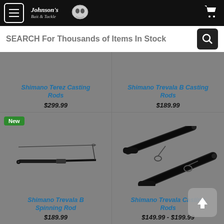Johnson's Bait & Tackle
SEARCH For Thousands of Items In Stock
Shimano Terez Casting Rods
$299.99
Shimano Trevala B Casting Rods
$189.99
New
[Figure (photo): Shimano Trevala B Spinning Rod product image showing a fishing rod]
Shimano Trevala B Spinning Rod
$189.99
[Figure (photo): Shimano Trevala Casting Rods product image showing two fishing rods crossed]
Shimano Trevala Casting Rods
$149.99 - $199.99